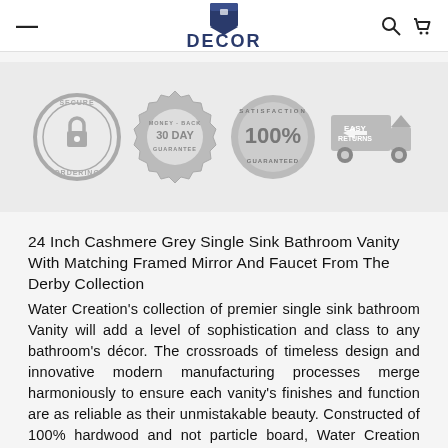DECOR
[Figure (infographic): Four trust badge icons: Secure Ordering (padlock circle badge), Money-Back 30 Day Guarantee (seal badge), Satisfaction 100% Guaranteed (circle badge), Easy Returns (truck icon badge). All in grey.]
24 Inch Cashmere Grey Single Sink Bathroom Vanity With Matching Framed Mirror And Faucet From The Derby Collection
Water Creation's collection of premier single sink bathroom Vanity will add a level of sophistication and class to any bathroom's décor. The crossroads of timeless design and innovative modern manufacturing processes merge harmoniously to ensure each vanity's finishes and function are as reliable as their unmistakable beauty. Constructed of 100% hardwood and not particle board, Water Creation prides itself on creating high-class Vanity that are designed to last a lifetime. The marble countertop, ceramic sink, and elegantly crafted doors all lend credence to the durability and superior craftsmanship that Water Creation is known for. With the